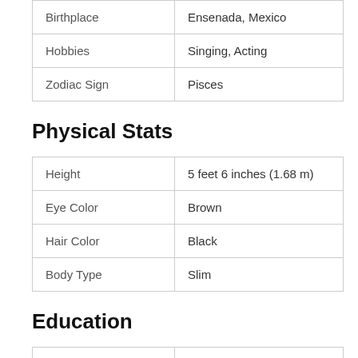| Birthplace | Ensenada, Mexico |
| Hobbies | Singing, Acting |
| Zodiac Sign | Pisces |
Physical Stats
| Height | 5 feet 6 inches (1.68 m) |
| Eye Color | Brown |
| Hair Color | Black |
| Body Type | Slim |
Education
|  |  |